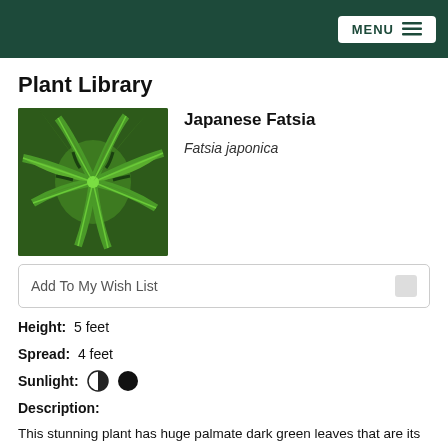MENU
Plant Library
[Figure (photo): Close-up photo of large palmate dark green leaves of Japanese Fatsia (Fatsia japonica) plant]
Japanese Fatsia
Fatsia japonica
Add To My Wish List
Height:  5 feet
Spread:  4 feet
Sunlight:
Description:
This stunning plant has huge palmate dark green leaves that are its principle attraction; perfect for creating a tropical look; an excellent choice